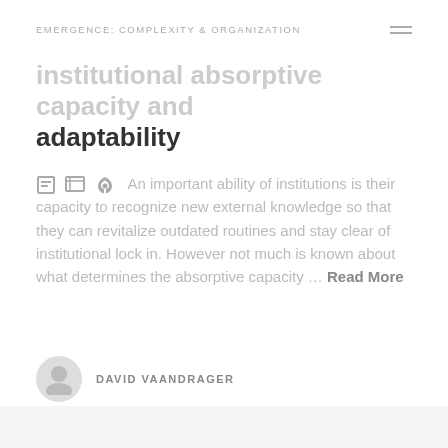EMERGENCE: COMPLEXITY & ORGANIZATION
institutional absorptive capacity and adaptability
An important ability of institutions is their capacity to recognize new external knowledge so that they can revitalize outdated routines and stay clear of institutional lock in. However not much is known about what determines the absorptive capacity … Read More
DAVID VAANDRAGER